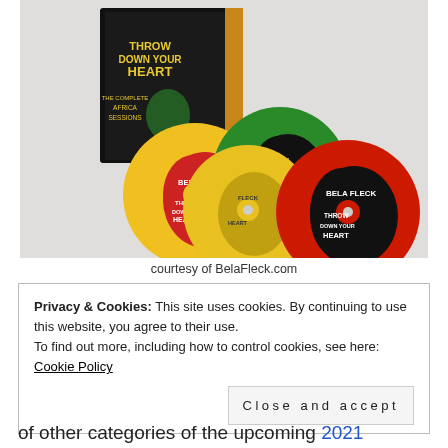[Figure (photo): Photo of Bela Fleck 'Throw Down Your Heart: The Complete Africa Sessions' multi-CD box set showing colorful CDs with Africa-shaped designs in yellow, green, and red/black, with album artwork booklet, on white background.]
courtesy of BelaFleck.com
Privacy & Cookies: This site uses cookies. By continuing to use this website, you agree to their use.
To find out more, including how to control cookies, see here: Cookie Policy
Close and accept
of other categories of the upcoming 2021